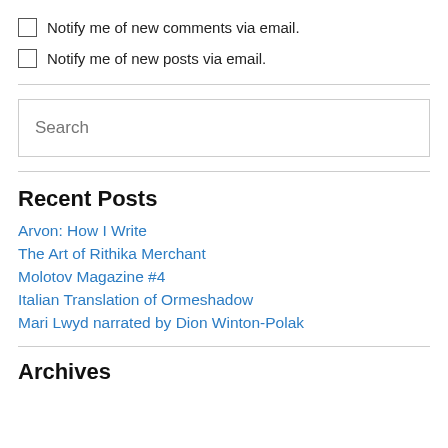Notify me of new comments via email.
Notify me of new posts via email.
Search
Recent Posts
Arvon: How I Write
The Art of Rithika Merchant
Molotov Magazine #4
Italian Translation of Ormeshadow
Mari Lwyd narrated by Dion Winton-Polak
Archives